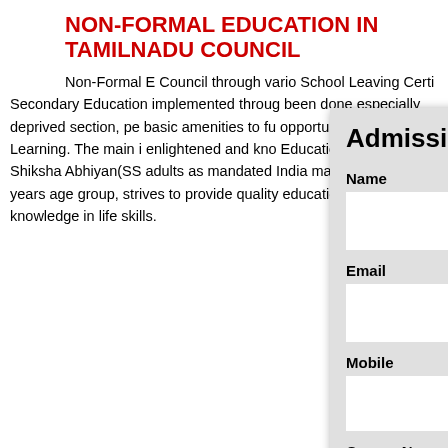NON-FORMAL EDUCATION IN TAMILNADU COUNCIL
Non-Formal Education Council through various School Leaving Certificate Secondary Education implemented through been done especially deprived section, people basic amenities to fulfill opportunity through Learning. The main idea enlightened and knowledgeable Education. Tamilnadu Shiksha Abhiyan(SSA) adults as mandated India making free and 14 years age group, strives to provide quality education including knowledge in life skills.
[Figure (screenshot): Admission Enquiry modal dialog with fields for Name, Email, Mobile, Course Name / Query, and a SUBMIT button]